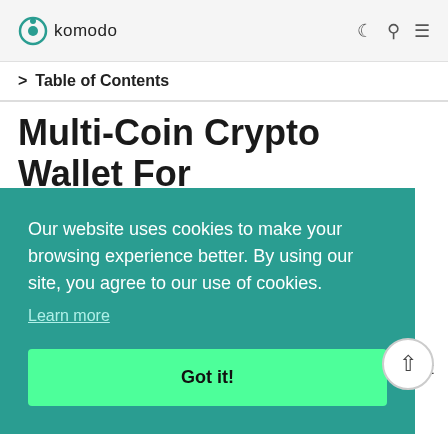komodo
Table of Contents
Multi-Coin Crypto Wallet For HODLers
You own your keys, so you control your coins. AtomicDEX supports BTC, ETH, LTC, DOGE, KMD, and thousands of … taList … that … me
Our website uses cookies to make your browsing experience better. By using our site, you agree to our use of cookies. Learn more Got it!
Traders